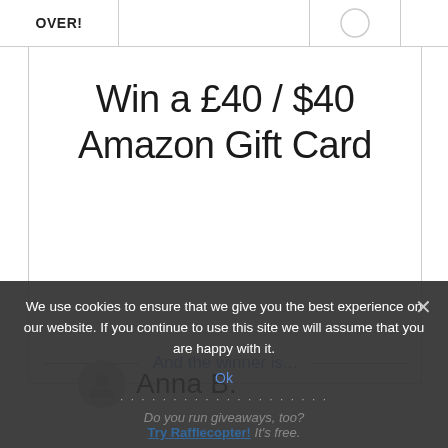OVER!
Win a £40 / $40 Amazon Gift Card
And the winner is...
Anna B.
We use cookies to ensure that we give you the best experience on our website. If you continue to use this site we will assume that you are happy with it.
Ok
Do you run giveaways, too?
Try Rafflecopter! It's free.